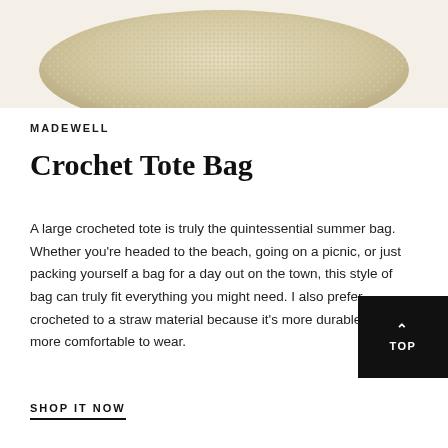[Figure (photo): Close-up photo of a beige/cream crochet tote bag from Madewell, showing the knitted texture against a light background.]
MADEWELL
Crochet Tote Bag
A large crocheted tote is truly the quintessential summer bag. Whether you're headed to the beach, going on a picnic, or just packing yourself a bag for a day out on the town, this style of bag can truly fit everything you might need. I also prefer crocheted to a straw material because it's more durable and more comfortable to wear.
SHOP IT NOW